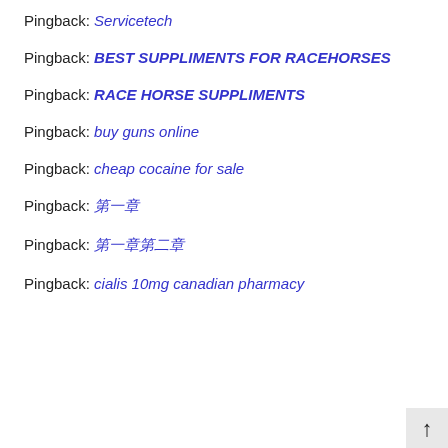Pingback: Servicetech
Pingback: BEST SUPPLIMENTS FOR RACEHORSES
Pingback: RACE HORSE SUPPLIMENTS
Pingback: buy guns online
Pingback: cheap cocaine for sale
Pingback: 第一章
Pingback: 第一章第二章
Pingback: cialis 10mg canadian pharmacy